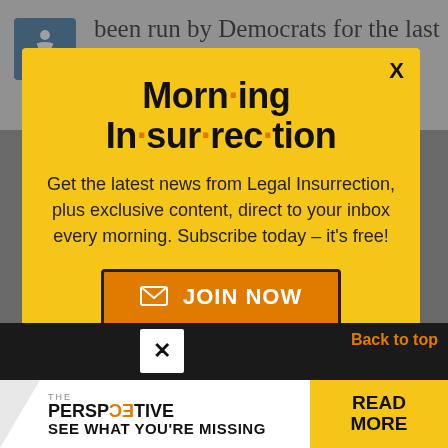been run by Democrats for the last 4.5 billion years. The solution is obvious: elect more Democrats and ban Aunt Jemima's syrup.
[Figure (screenshot): Modal popup newsletter signup for 'Morning Insurrection' on yellow background with close button X, title text, description text, and orange JOIN NOW button]
X
Morn·ing In·sur·rec·tion
Get the latest news from Legal Insurrection, plus exclusive content, direct to your inbox every morning. Subscribe today – it's free!
JOIN NOW
✕
Back to top
[Figure (infographic): THE PERSPECTIVE advertisement banner with 'SEE WHAT YOU'RE MISSING' text and READ MORE button on yellow background]